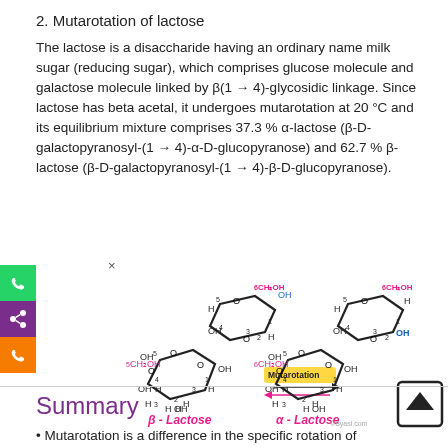2. Mutarotation of lactose
The lactose is a disaccharide having an ordinary name milk sugar (reducing sugar), which comprises glucose molecule and galactose molecule linked by β(1 → 4)-glycosidic linkage. Since lactose has beta acetal, it undergoes mutarotation at 20 °C and its equilibrium mixture comprises 37.3 % α-lactose (β-D-galactopyranosyl-(1 → 4)-α-D-glucopyranose) and 62.7 % β-lactose (β-D-galactopyranosyl-(1 → 4)-β-D-glucopyranose).
[Figure (illustration): Chemical diagram showing mutarotation of lactose between β-Lactose and α-Lactose structures with arrows indicating equilibrium/mutarotation.]
Summary
Mutarotation is a difference in the specific rotation of